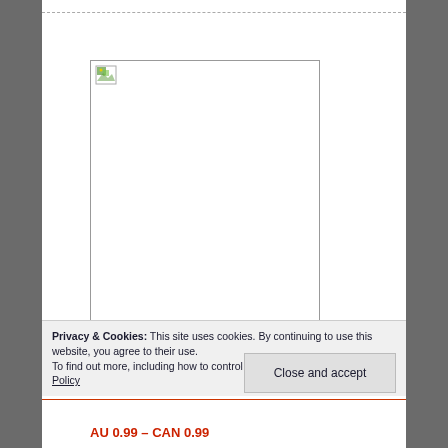[Figure (screenshot): Screenshot of a website page showing a broken/missing image placeholder box with a small image icon in the upper left corner. Books/bookshelf background visible on left and right sides.]
Privacy & Cookies: This site uses cookies. By continuing to use this website, you agree to their use.
To find out more, including how to control cookies, see here: Cookie Policy
Close and accept
AU 0.99 – CAN 0.99